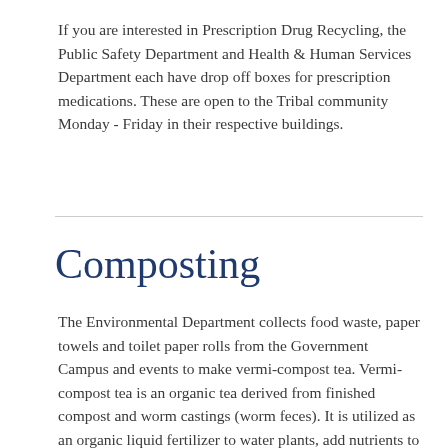If you are interested in Prescription Drug Recycling, the Public Safety Department and Health & Human Services Department each have drop off boxes for prescription medications. These are open to the Tribal community Monday - Friday in their respective buildings.
Composting
The Environmental Department collects food waste, paper towels and toilet paper rolls from the Government Campus and events to make vermi-compost tea. Vermi-compost tea is an organic tea derived from finished compost and worm castings (worm feces). It is utilized as an organic liquid fertilizer to water plants, add nutrients to your garden soil or your lawn! By diverting this waste